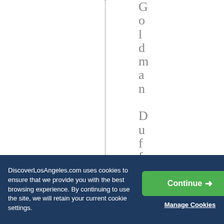[Figure (other): White background area with a vertical dotted line and vertically arranged text reading 'Goldman DuffGoldm' in gray serif font]
DiscoverLosAngeles.com uses cookies to ensure that we provide you with the best browsing experience. By continuing to use the site, we will retain your current cookie settings.
Continue →
Manage Cookies